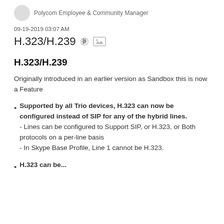Polycom Employee & Community Manager
09-19-2019 03:07 AM
H.323/H.239
H.323/H.239
Originally introduced in an earlier version as Sandbox this is now a Feature
Supported by all Trio devices, H.323 can now be configured instead of SIP for any of the hybrid lines.
- Lines can be configured to Support SIP, or H.323, or Both protocols on a per-line basis
- In Skype Base Profile, Line 1 cannot be H.323.
H.323 can be...